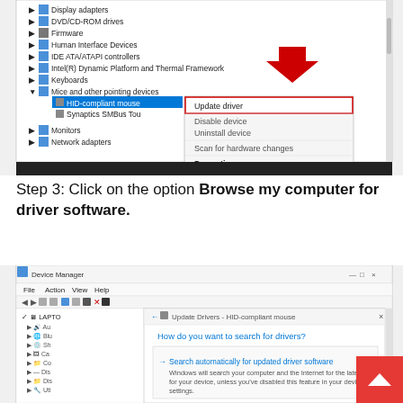[Figure (screenshot): Windows Device Manager showing context menu with 'Update driver' highlighted in red box for HID-compliant mouse under Mice and other pointing devices. A red arrow points down at the menu.]
Step 3: Click on the option Browse my computer for driver software.
[Figure (screenshot): Windows Device Manager with Update Drivers dialog open for HID-compliant mouse, showing 'How do you want to search for drivers?' with option 'Search automatically for updated driver software'.]